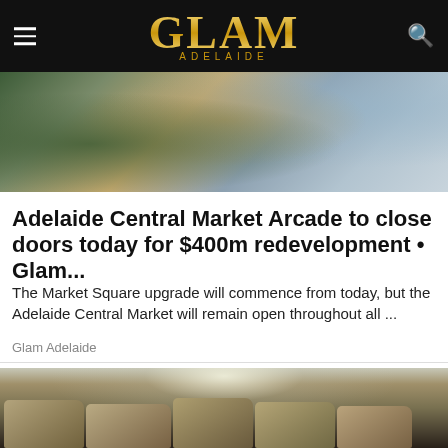GLAM ADELAIDE
[Figure (photo): Aerial view of Adelaide city with modern building development on the left and city skyline on the right]
Adelaide Central Market Arcade to close doors today for $400m redevelopment • Glam...
The Market Square upgrade will commence from today, but the Adelaide Central Market will remain open throughout all ...
Glam Adelaide
[Figure (photo): Interior of a dimly lit parking garage with rows of dusty SUVs/trucks covered under bright overhead lighting with industrial ceiling structure visible]